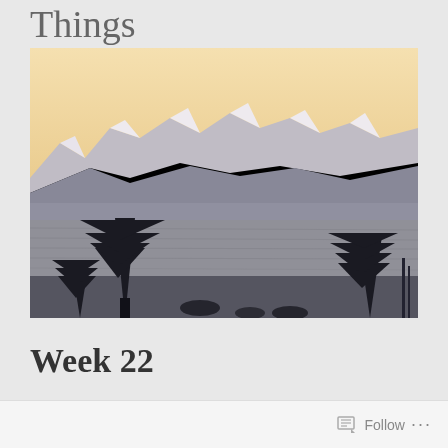Things
[Figure (photo): Landscape photograph showing snow-capped mountains in the background with a warm golden sky, a body of water in the middle ground, and dark silhouettes of evergreen trees in the foreground.]
Week 22
Follow ...